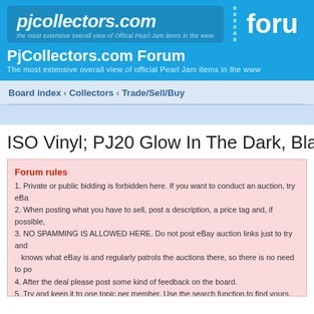[Figure (logo): pjcollectors.com forum logo banner with blue background, site name and 'forum' text]
PjCollectors.com Forum
The most extensive overall view of official Pearl Jam items in the www
Board index ‹ Collectors ‹ Trade/Sell/Buy
ISO Vinyl; PJ20 Glow In The Dark, Black Daught...
Forum rules
1. Private or public bidding is forbidden here. If you want to conduct an auction, try eBa...
2. When posting what you have to sell, post a description, a price tag and, if possible,...
3. NO SPAMMING IS ALLOWED HERE. Do not post eBay auction links just to try and... knows what eBay is and regularly patrols the auctions there, so there is no need to po...
4. After the deal please post some kind of feedback on the board.
5. Try and keep it to one topic per member. Use the search function to find yours.
6. Report any infraction (e.g. if a seller is asking for a higher price than the one he set...
7. If you need help or have a question, ask it here or contact an admin or moderator
8. Please DO NOT ASK FOR PRICES. This is a place for collectors, not a market!!
Trade Advices:
1. New members to the board will be expected to ship their item to an established boa... item will be sent out immediately. The PJC community here is one laregly based upon... integrity and respect. Many of the members have developed close friendships and trus...